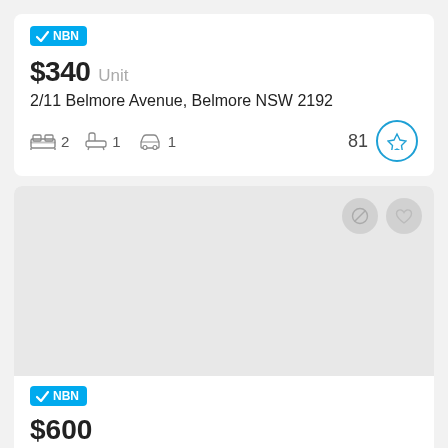NBN
$340 Unit
2/11 Belmore Avenue, Belmore NSW 2192
2 bedrooms, 1 bathroom, 1 car space, score 81
[Figure (screenshot): Second property listing card with light grey image placeholder, action buttons (remove/favourite), NBN badge]
NBN
$600